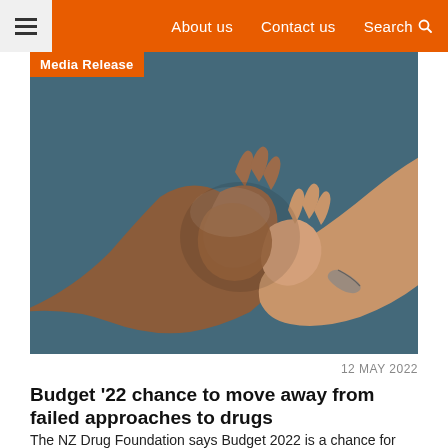About us  Contact us  Search
Media Release
[Figure (photo): Two people clasping hands together in a supportive gesture against a dark teal/blue background. One hand appears darker-skinned and the other lighter-skinned with a bracelet on the wrist.]
12 MAY 2022
Budget '22 chance to move away from failed approaches to drugs
The NZ Drug Foundation says Budget 2022 is a chance for the Government to fund effective health-based